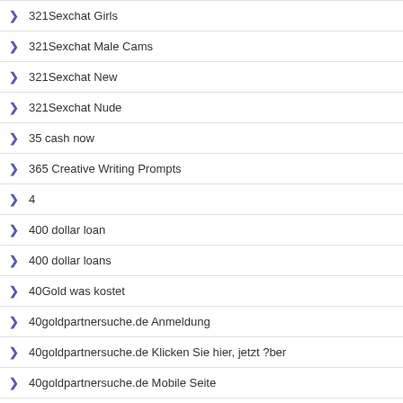321Sexchat Girls
321Sexchat Male Cams
321Sexchat New
321Sexchat Nude
35 cash now
365 Creative Writing Prompts
4
400 dollar loan
400 dollar loans
40Gold was kostet
40goldpartnersuche.de Anmeldung
40goldpartnersuche.de Klicken Sie hier, jetzt ?ber
40goldpartnersuche.de Mobile Seite
40goldpartnersuche.de Rezension